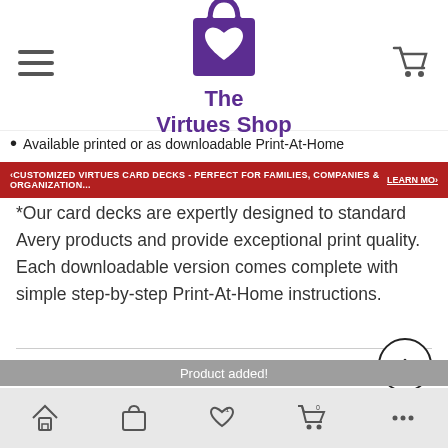[Figure (logo): The Virtues Shop logo: purple shopping bag with white heart, text 'The Virtues Shop' in purple]
Available printed or as downloadable Print-At-Home
CUSTOMIZED VIRTUES CARD DECKS - PERFECT FOR FAMILIES, COMPANIES & ORGANIZATION... LEARN MO...
*Our card decks are expertly designed to standard Avery products and provide exceptional print quality. Each downloadable version comes complete with simple step-by-step Print-At-Home instructions.
REVIEWS
Product added!